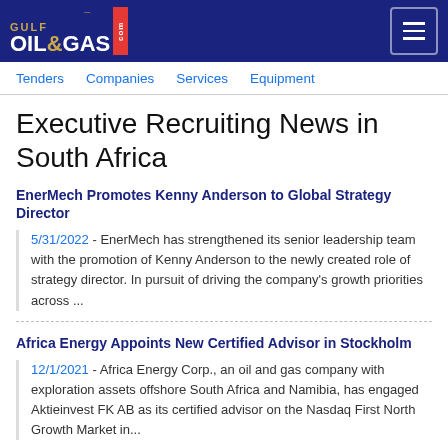GULF OIL & GAS .com
Tenders  Companies  Services  Equipment
Executive Recruiting News in South Africa
EnerMech Promotes Kenny Anderson to Global Strategy Director
5/31/2022 - EnerMech has strengthened its senior leadership team with the promotion of Kenny Anderson to the newly created role of strategy director. In pursuit of driving the company's growth priorities across ...
Africa Energy Appoints New Certified Advisor in Stockholm
12/1/2021 - Africa Energy Corp., an oil and gas company with exploration assets offshore South Africa and Namibia, has engaged Aktieinvest FK AB as its certified advisor on the Nasdaq First North Growth Market in...
Kinetiko Appoints New South African CEO